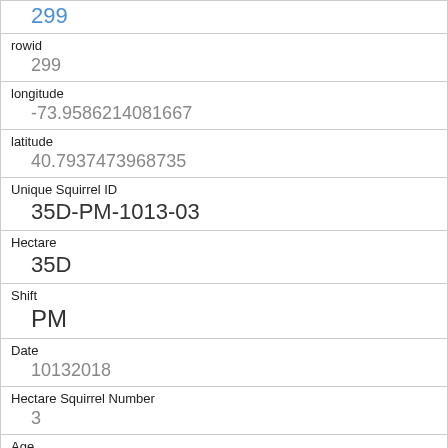| 299 |
| rowid | 299 |
| longitude | -73.9586214081667 |
| latitude | 40.7937473968735 |
| Unique Squirrel ID | 35D-PM-1013-03 |
| Hectare | 35D |
| Shift | PM |
| Date | 10132018 |
| Hectare Squirrel Number | 3 |
| Age | Juvenile |
| Primary Fur Color |  |